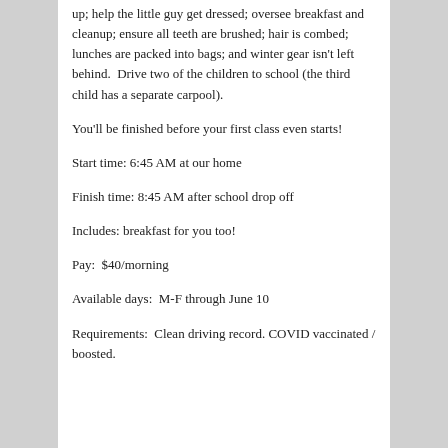up; help the little guy get dressed; oversee breakfast and cleanup; ensure all teeth are brushed; hair is combed; lunches are packed into bags; and winter gear isn't left behind.  Drive two of the children to school (the third child has a separate carpool).
You'll be finished before your first class even starts!
Start time: 6:45 AM at our home
Finish time: 8:45 AM after school drop off
Includes: breakfast for you too!
Pay:  $40/morning
Available days:  M-F through June 10
Requirements:  Clean driving record. COVID vaccinated / boosted.